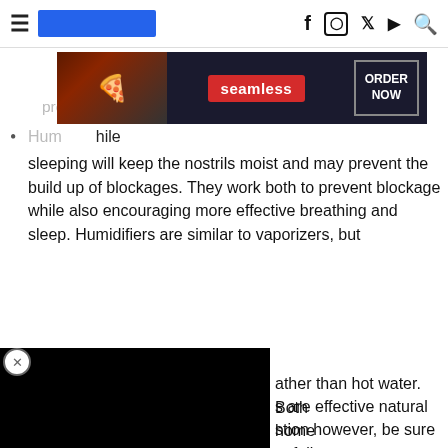≡ [logo] f ⊙ 𝕏 ▶ 🔍
[Figure (screenshot): Seamless food delivery advertisement banner with pizza image, red Seamless logo, and ORDER NOW button]
Humidifier — Using a humidifier while sleeping will keep the nostrils moist and may prevent the build up of blockages. They work both to prevent blockage while also encouraging more effective breathing and sleep. Humidifiers are similar to vaporizers, but use cool mist rather than hot water. Both vaporizers and humidifiers are effective natural home remedies for nasal congestion however, be sure to follow safe guidelines and clean your humidifier properly to
[Figure (screenshot): Black video player overlay covering left portion of content]
Elevated Head â Keeping your head elevated when lying down will allow gravity to naturally boost sinus drainage.
[Figure (screenshot): CLOSE button bar and MAC cosmetics advertisement banner with lipsticks and SHOP NOW button]
Cho